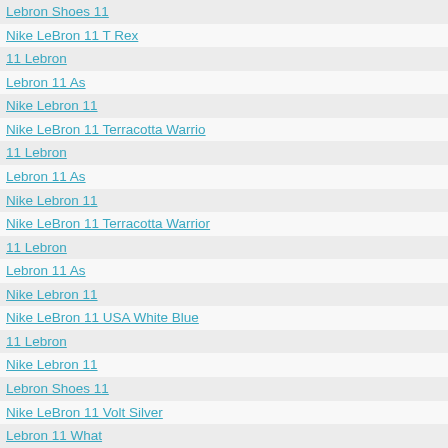Lebron Shoes 11
Nike LeBron 11 T Rex
11 Lebron
Lebron 11 As
Nike Lebron 11
Nike LeBron 11 Terracotta Warrio
11 Lebron
Lebron 11 As
Nike Lebron 11
Nike LeBron 11 Terracotta Warrior
11 Lebron
Lebron 11 As
Nike Lebron 11
Nike LeBron 11 USA White Blue
11 Lebron
Nike Lebron 11
Lebron Shoes 11
Nike LeBron 11 Volt Silver
Lebron 11 What
What Lebron 11
Lebron 11 What The
Nike LeBron 11 What The Lebron
11 Lebron